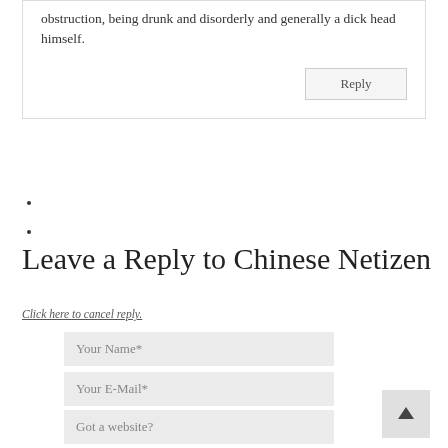obstruction, being drunk and disorderly and generally a dick head himself.
Reply
Leave a Reply to Chinese Netizen
Click here to cancel reply.
Your Name*
Your E-Mail*
Got a website?